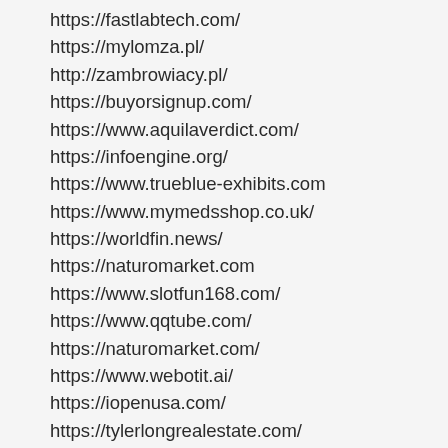https://fastlabtech.com/
https://mylomza.pl/
http://zambrowiacy.pl/
https://buyorsignup.com/
https://www.aquilaverdict.com/
https://infoengine.org/
https://www.trueblue-exhibits.com
https://www.mymedsshop.co.uk/
https://worldfin.news/
https://naturomarket.com
https://www.slotfun168.com/
https://www.qqtube.com/
https://naturomarket.com/
https://www.webotit.ai/
https://iopenusa.com/
https://tylerlongrealestate.com/